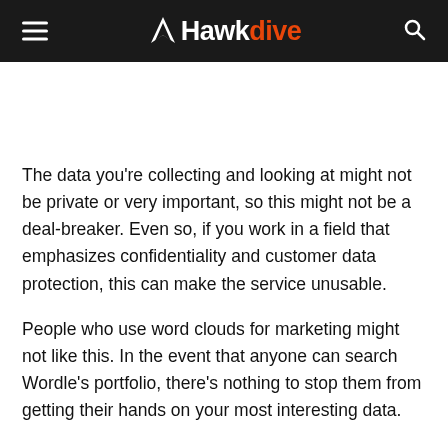Hawkdive
The data you're collecting and looking at might not be private or very important, so this might not be a deal-breaker. Even so, if you work in a field that emphasizes confidentiality and customer data protection, this can make the service unusable.
People who use word clouds for marketing might not like this. In the event that anyone can search Wordle's portfolio, there's nothing to stop them from getting their hands on your most interesting data.